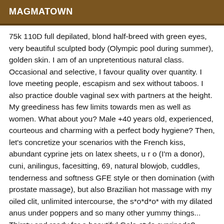MAGMATOWN
75k 110D full depilated, blond half-breed with green eyes, very beautiful sculpted body (Olympic pool during summer), golden skin. I am of an unpretentious natural class. Occasional and selective, I favour quality over quantity. I love meeting people, escapism and sex without taboos. I also practice double vaginal sex with partners at the height. My greediness has few limits towards men as well as women. What about you? Male +40 years old, experienced, courteous and charming with a perfect body hygiene? Then, let's concretize your scenarios with the French kiss, abundant cyprine jets on latex sheets, u r o (I'm a donor), cuni, anilingus, facesitting, 69, natural blowjob, cuddles, tenderness and softness GFE style or then domination (with prostate massage), but also Brazilian hot massage with my oiled clit, unlimited intercourse, the s*o*d*o* with my dilated anus under poppers and so many other yummy things... Thirsty and ready for a beautiful Gala-style cyprinade?